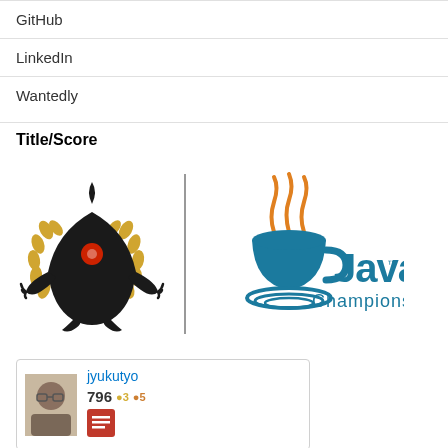GitHub
LinkedIn
Wantedly
Title/Score
[Figure (logo): Inkscape (Tux-like creature with laurel wreath) logo on the left, vertical divider, Java Champions logo on the right]
[Figure (infographic): Stack Overflow user card: avatar photo, username jyukutyo, reputation 796, 3 gold badges, 5 silver badges, and a red Stack Overflow badge icon]